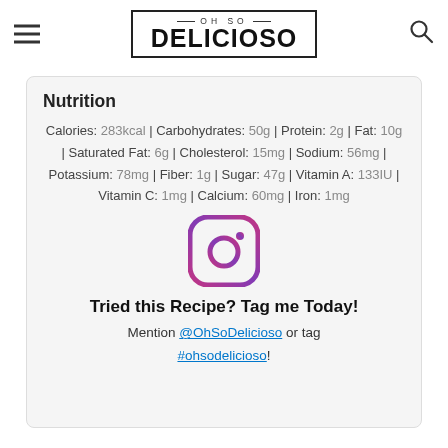OH SO DELICIOSO
Nutrition
Calories: 283kcal | Carbohydrates: 50g | Protein: 2g | Fat: 10g | Saturated Fat: 6g | Cholesterol: 15mg | Sodium: 56mg | Potassium: 78mg | Fiber: 1g | Sugar: 47g | Vitamin A: 133IU | Vitamin C: 1mg | Calcium: 60mg | Iron: 1mg
[Figure (logo): Instagram logo icon, purple rounded square with camera circle]
Tried this Recipe? Tag me Today! Mention @OhSoDelicioso or tag #ohsodelicioso!